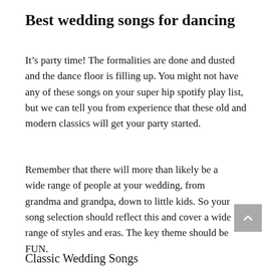Best wedding songs for dancing
It’s party time! The formalities are done and dusted and the dance floor is filling up. You might not have any of these songs on your super hip spotify play list, but we can tell you from experience that these old and modern classics will get your party started.
Remember that there will more than likely be a wide range of people at your wedding, from grandma and grandpa, down to little kids. So your song selection should reflect this and cover a wide range of styles and eras. The key theme should be FUN.
Classic Wedding Songs